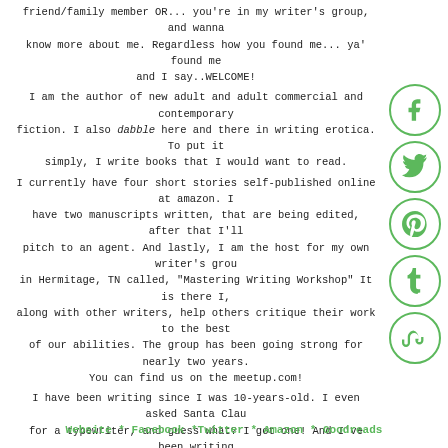friend/family member OR... you're in my writer's group, and wanna know more about me. Regardless how you found me... ya' found me and I say..WELCOME! I am the author of new adult and adult commercial and contemporary fiction. I also dabble here and there in writing erotica. To put it simply, I write books that I would want to read. I currently have four short stories self-published online at amazon. I have two manuscripts written, that are being edited, after that I'll pitch to an agent. And lastly, I am the host for my own writer's group in Hermitage, TN called, "Mastering Writing Workshop" It is there I, along with other writers, help others critique their work to the best of our abilities. The group has been going strong for nearly two years. You can find us on the meetup.com! I have been writing since I was 10-years-old. I even asked Santa Claus for a typewriter, and guess what? I got one! And I've been writing ever since! It is here, you'll be able to be added to my mailing list to keep up with new projects, and to be notified when new books will be released. And if you're looking for a beta reader, don't hesitate to contact me.
[Figure (infographic): Five green circular social media icons stacked vertically on the right side: Facebook (f), Twitter (bird), Pinterest (P), Tumblr (t), StumbleUpon (su)]
Website * Facebook *Twitter * Amazon * Goodreads